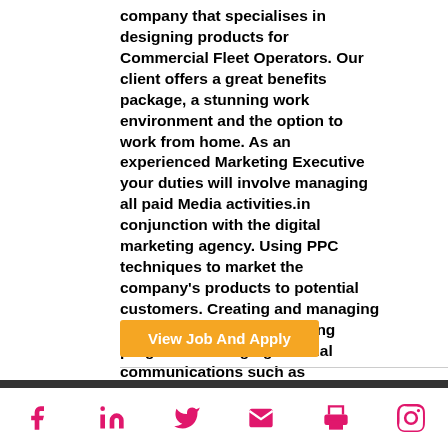company that specialises in designing products for Commercial Fleet Operators. Our client offers a great benefits package, a stunning work environment and the option to work from home. As an experienced Marketing Executive your duties will involve managing all paid Media activities.in conjunction with the digital marketing agency. Using PPC techniques to market the company's products to potential customers. Creating and managing the account-based marketing programs. Managing internal communications such as newsletters and events. Building and managing various campaigns. Develop brand awareness throughout the EU - outreach, industry awards etc. You will need to have previous B2B Marketing experience.
View Job And Apply
Facebook, LinkedIn, Twitter, Email, Print, Pinterest icons